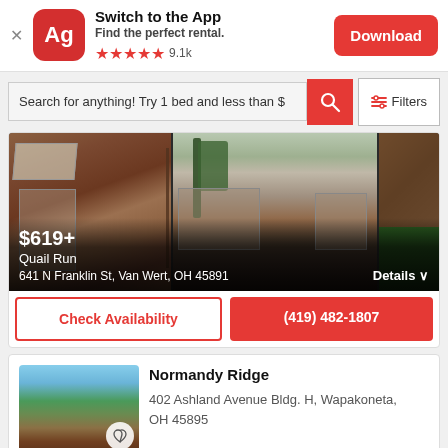[Figure (screenshot): App promotion banner with Apartments.com 'Ag' logo icon, text 'Switch to the App', 'Find the perfect rental.', 5 red stars rating, '9.1k' reviews, and red 'Download' button]
Search for anything! Try 1 bed and less than $
[Figure (photo): Apartment complex exterior photo showing brick buildings with balconies and a tree. Price overlay: $619+, name: Quail Run, address: 641 N Franklin St, Van Wert, OH 45891]
$619+
Quail Run
641 N Franklin St, Van Wert, OH 45891
Details ∨
Check Availability
(419) 482-1807
Normandy Ridge
402 Ashland Avenue Bldg. H, Wapakoneta, OH 45895